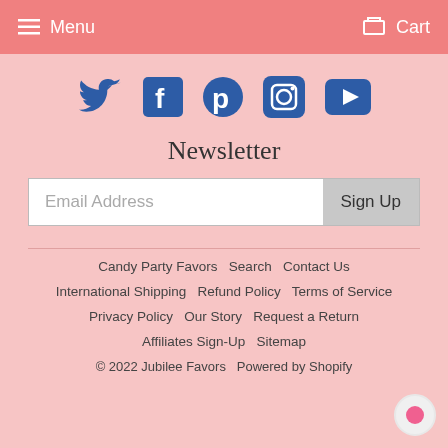Menu  Cart
[Figure (illustration): Social media icons row: Twitter bird, Facebook f, Pinterest p, Instagram camera, YouTube play button — all in dark blue on pink background]
Newsletter
Email Address  Sign Up
Candy Party Favors   Search   Contact Us
International Shipping   Refund Policy   Terms of Service
Privacy Policy   Our Story   Request a Return
Affiliates Sign-Up   Sitemap
© 2022 Jubilee Favors   Powered by Shopify